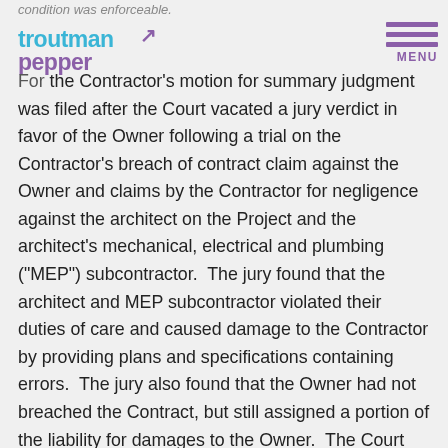condition was enforceable.
[Figure (logo): Troutman Pepper law firm logo with teal 'troutman' text, purple arrow, and purple 'pepper' text, alongside a purple hamburger menu icon with MENU label]
For the Contractor's motion for summary judgment was filed after the Court vacated a jury verdict in favor of the Owner following a trial on the Contractor's breach of contract claim against the Owner and claims by the Contractor for negligence against the architect on the Project and the architect's mechanical, electrical and plumbing ("MEP") subcontractor.  The jury found that the architect and MEP subcontractor violated their duties of care and caused damage to the Contractor by providing plans and specifications containing errors.  The jury also found that the Owner had not breached the Contract, but still assigned a portion of the liability for damages to the Owner.  The Court vacated the